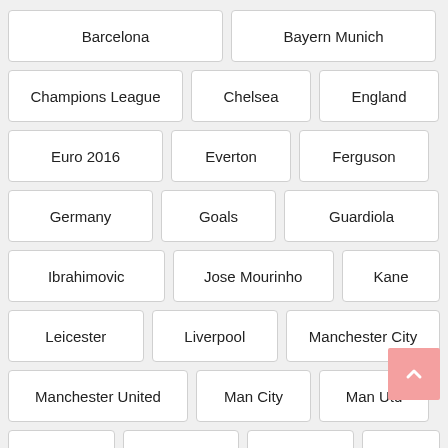Barcelona
Bayern Munich
Champions League
Chelsea
England
Euro 2016
Everton
Ferguson
Germany
Goals
Guardiola
Ibrahimovic
Jose Mourinho
Kane
Leicester
Liverpool
Manchester City
Manchester United
Man City
Man Utd
Messi
Mourinho
Moyes
Paul Pogba